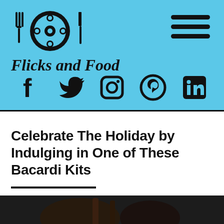[Figure (logo): Flicks and Food logo with film reel icon flanked by fork and knife, on blue background with hamburger menu icon]
[Figure (infographic): Social media icons row: Facebook, Twitter, Instagram, Pinterest, LinkedIn]
Celebrate The Holiday by Indulging in One of These Bacardi Kits
[Figure (photo): Dark photo of Bacardi bottle/drinks, partially visible at bottom of page]